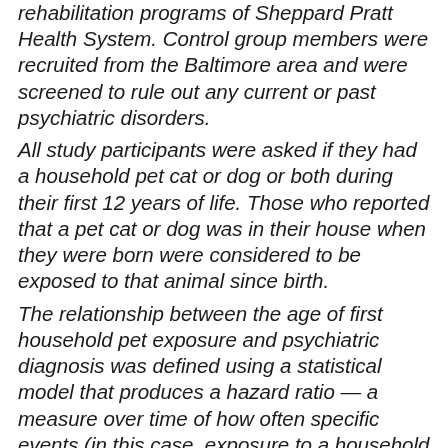rehabilitation programs of Sheppard Pratt Health System. Control group members were recruited from the Baltimore area and were screened to rule out any current or past psychiatric disorders.
All study participants were asked if they had a household pet cat or dog or both during their first 12 years of life. Those who reported that a pet cat or dog was in their house when they were born were considered to be exposed to that animal since birth.
The relationship between the age of first household pet exposure and psychiatric diagnosis was defined using a statistical model that produces a hazard ratio — a measure over time of how often specific events (in this case, exposure to a household pet and development of a psychiatric disorder) happen in a study group compared to their frequency in a control group. A hazard ratio of 1 suggests no difference between groups, while a ratio